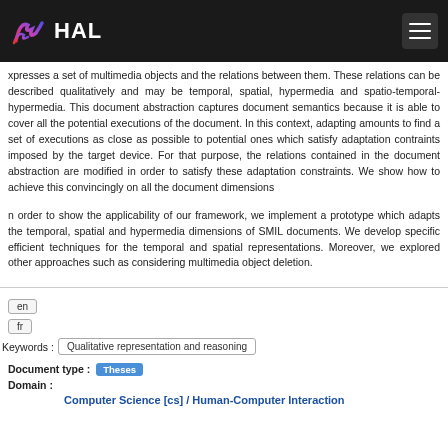HAL
xpresses a set of multimedia objects and the relations between them. These relations can be described qualitatively and may be temporal, spatial, hypermedia and spatio-temporal-hypermedia. This document abstraction captures document semantics because it is able to cover all the potential executions of the document. In this context, adapting amounts to find a set of executions as close as possible to potential ones which satisfy adaptation contraints imposed by the target device. For that purpose, the relations contained in the document abstraction are modified in order to satisfy these adaptation constraints. We show how to achieve this convincingly on all the document dimensions
n order to show the applicability of our framework, we implement a prototype which adapts the temporal, spatial and hypermedia dimensions of SMIL documents. We develop specific efficient techniques for the temporal and spatial representations. Moreover, we explored other approaches such as considering multimedia object deletion.
en
fr
Keywords : Qualitative representation and reasoning
Document type : Theses
Domain : Computer Science [cs] / Human-Computer Interaction